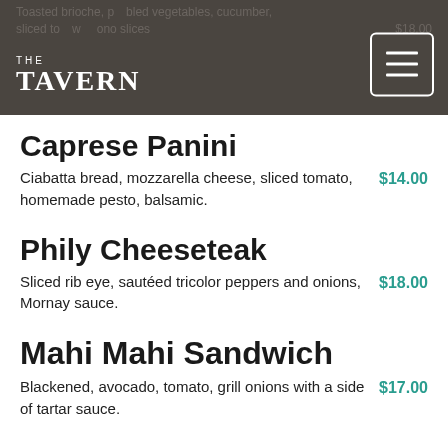THE TAVERN
Caprese Panini
Ciabatta bread, mozzarella cheese, sliced tomato, homemade pesto, balsamic. $14.00
Phily Cheeseteak
Sliced rib eye, sautéed tricolor peppers and onions, Mornay sauce. $18.00
Mahi Mahi Sandwich
Blackened, avocado, tomato, grill onions with a side of tartar sauce. $17.00